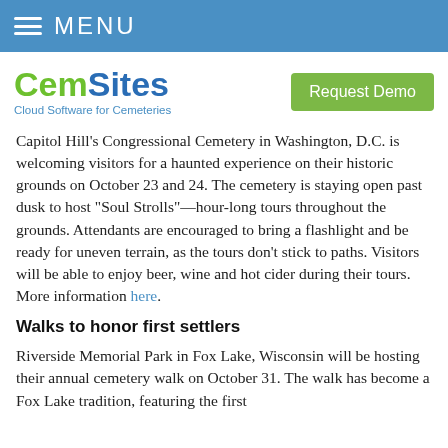MENU
[Figure (logo): CemSites logo with tagline 'Cloud Software for Cemeteries' and a green 'Request Demo' button]
Capitol Hill's Congressional Cemetery in Washington, D.C. is welcoming visitors for a haunted experience on their historic grounds on October 23 and 24. The cemetery is staying open past dusk to host "Soul Strolls"—hour-long tours throughout the grounds. Attendants are encouraged to bring a flashlight and be ready for uneven terrain, as the tours don't stick to paths. Visitors will be able to enjoy beer, wine and hot cider during their tours. More information here.
Walks to honor first settlers
Riverside Memorial Park in Fox Lake, Wisconsin will be hosting their annual cemetery walk on October 31. The walk has become a Fox Lake tradition, featuring the first